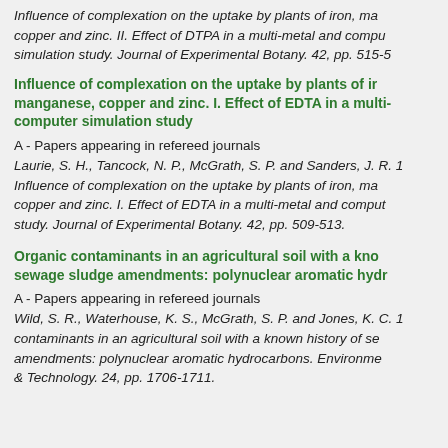Influence of complexation on the uptake by plants of iron, ma copper and zinc. II. Effect of DTPA in a multi-metal and compu simulation study. Journal of Experimental Botany. 42, pp. 515-5
Influence of complexation on the uptake by plants of ir manganese, copper and zinc. I. Effect of EDTA in a mul computer simulation study
A - Papers appearing in refereed journals
Laurie, S. H., Tancock, N. P., McGrath, S. P. and Sanders, J. R. 1 Influence of complexation on the uptake by plants of iron, ma copper and zinc. I. Effect of EDTA in a multi-metal and comput study. Journal of Experimental Botany. 42, pp. 509-513.
Organic contaminants in an agricultural soil with a kno sewage sludge amendments: polynuclear aromatic hyd
A - Papers appearing in refereed journals
Wild, S. R., Waterhouse, K. S., McGrath, S. P. and Jones, K. C. 1 contaminants in an agricultural soil with a known history of se amendments: polynuclear aromatic hydrocarbons. Environme & Technology. 24, pp. 1706-1711.